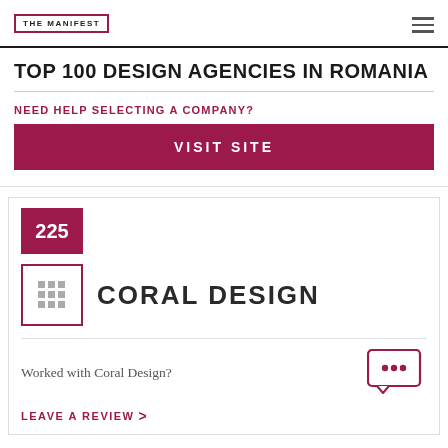THE MANIFEST
TOP 100 DESIGN AGENCIES IN ROMANIA
NEED HELP SELECTING A COMPANY?
VISIT SITE
225
CORAL DESIGN
Worked with Coral Design?
LEAVE A REVIEW